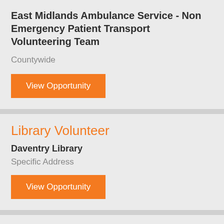East Midlands Ambulance Service - Non Emergency Patient Transport Volunteering Team
Countywide
View Opportunity
Library Volunteer
Daventry Library
Specific Address
View Opportunity
Library Volunteer
Brixworth Library